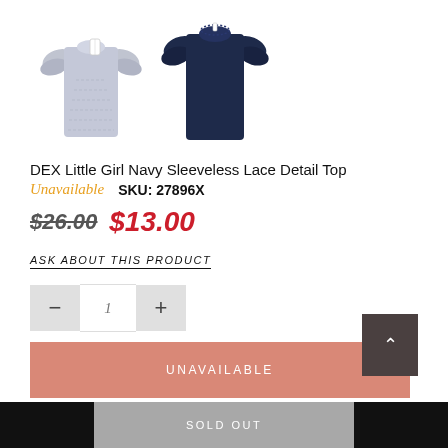[Figure (photo): Two children's dresses side by side: one gray/lavender with ruffled sleeves and a price tag, and one navy blue with ruffled sleeves.]
DEX Little Girl Navy Sleeveless Lace Detail Top
Unavailable   SKU: 27896X
$26.00  $13.00
ASK ABOUT THIS PRODUCT
1 (quantity selector with minus and plus buttons)
UNAVAILABLE
SOLD OUT